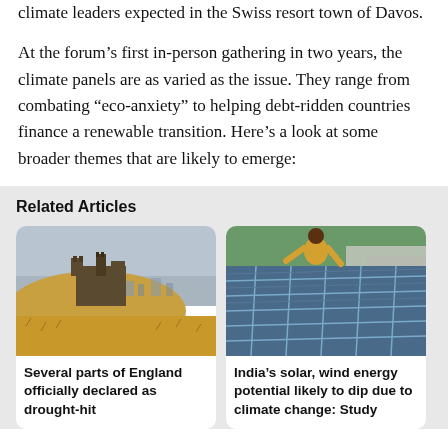climate leaders expected in the Swiss resort town of Davos.
At the forum's first in-person gathering in two years, the climate panels are as varied as the issue. They range from combating “eco-anxiety” to helping debt-ridden countries finance a renewable transition. Here’s a look at some broader themes that are likely to emerge:
Related Articles
[Figure (photo): Aerial view of a dry, drought-affected landscape with a historic castle or fort on a hill, with a city in the background]
Several parts of England officially declared as drought-hit
[Figure (photo): A person in a yellow shirt working on large solar panels on a rooftop with greenery and buildings in the background]
India’s solar, wind energy potential likely to dip due to climate change: Study